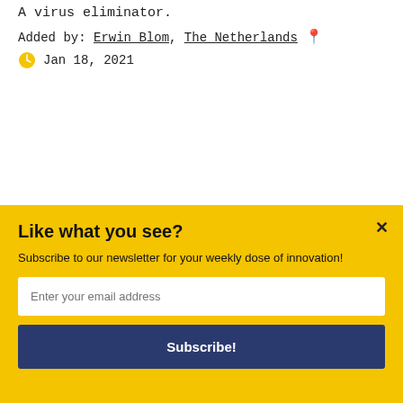A virus eliminator.
Added by: Erwin Blom, The Netherlands 📍
🕐 Jan 18, 2021
Like what you see? Follow us on Twitter.
[Figure (other): Blue Twitter Follow button with bird icon and text 'Follow @tisty']
Like what you see?
Subscribe to our newsletter for your weekly dose of innovation!
Enter your email address
Subscribe!